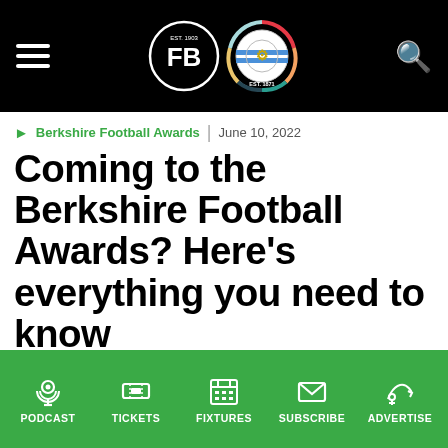Berkshire Football / Reading FC website header with hamburger menu, logos, and search icon
▶ Berkshire Football Awards | June 10, 2022
Coming to the Berkshire Football Awards? Here's everything you need to know
PODCAST | TICKETS | FIXTURES | SUBSCRIBE | ADVERTISE